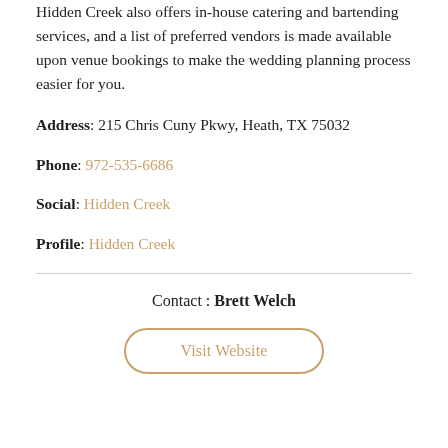Hidden Creek also offers in-house catering and bartending services, and a list of preferred vendors is made available upon venue bookings to make the wedding planning process easier for you.
Address: 215 Chris Cuny Pkwy, Heath, TX 75032
Phone: 972-535-6686
Social: Hidden Creek
Profile: Hidden Creek
Contact : Brett Welch
Visit Website